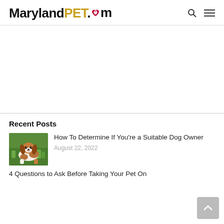MarylandPET.com
[Figure (illustration): Advertisement banner area (blank white space)]
Recent Posts
[Figure (photo): Cavalier King Charles Spaniel dog lying on grass]
How To Determine If You're a Suitable Dog Owner
August 22, 2022
4 Questions to Ask Before Taking Your Pet On